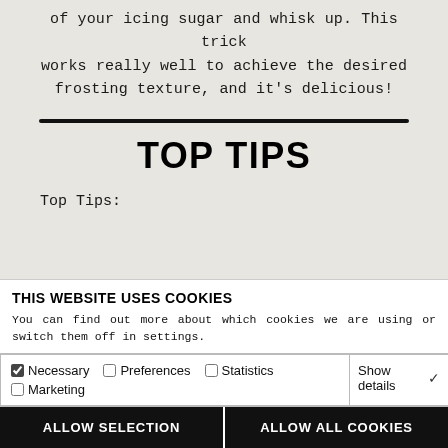of your icing sugar and whisk up. This trick works really well to achieve the desired frosting texture, and it's delicious!
TOP TIPS
Top Tips:
THIS WEBSITE USES COOKIES
You can find out more about which cookies we are using or switch them off in settings.
Necessary  Preferences  Statistics  Marketing  Show details
ALLOW SELECTION   ALLOW ALL COOKIES